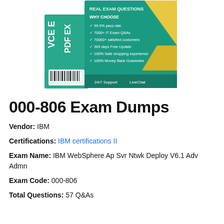[Figure (illustration): Product box image showing VCE and PDF exam dump packages with teal and yellow design, listing features: 99.5% pass rate, 7000+ IT Exam Q&As, 70000+ satisfied customers, 365 days Free Update, 100% Safe shopping experience, 100% Money Back Guarantee. 24/7 Support LiveChat shown at bottom.]
000-806 Exam Dumps
Vendor: IBM
Certifications: IBM certifications II
Exam Name: IBM WebSphere Ap Svr Ntwk Deploy V6.1 Adv Admn
Exam Code: 000-806
Total Questions: 57 Q&As